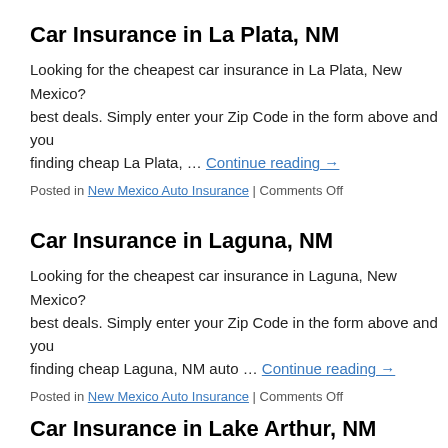Car Insurance in La Plata, NM
Looking for the cheapest car insurance in La Plata, New Mexico? … best deals. Simply enter your Zip Code in the form above and you … finding cheap La Plata, … Continue reading →
Posted in New Mexico Auto Insurance | Comments Off
Car Insurance in Laguna, NM
Looking for the cheapest car insurance in Laguna, New Mexico? … best deals. Simply enter your Zip Code in the form above and you … finding cheap Laguna, NM auto … Continue reading →
Posted in New Mexico Auto Insurance | Comments Off
Car Insurance in Lake Arthur, NM
Looking for the cheapest car insurance in Lake Arthur, New Me…